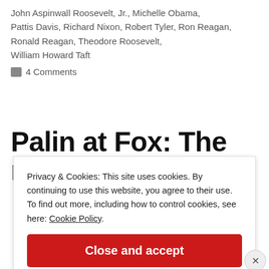John Aspinwall Roosevelt, Jr., Michelle Obama, Pattis Davis, Richard Nixon, Robert Tyler, Ron Reagan, Ronald Reagan, Theodore Roosevelt, William Howard Taft
4 Comments
Palin at Fox: The next
Privacy & Cookies: This site uses cookies. By continuing to use this website, you agree to their use. To find out more, including how to control cookies, see here: Cookie Policy
Close and accept